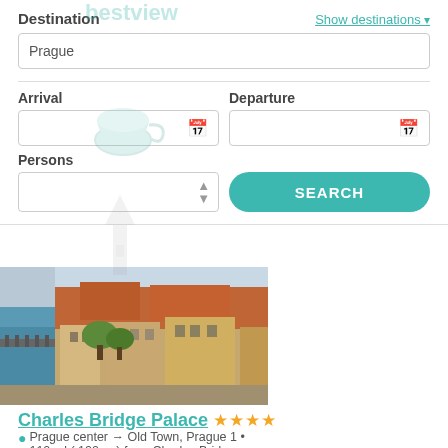Destination
Show destinations
Prague
Arrival
Departure
Persons
SEARCH
[Figure (photo): Aerial photo of Charles Bridge Palace hotel area in Prague, showing riverside buildings with orange/red tiled roofs and trees]
Charles Bridge Palace ★★★★
Prague center → Old Town, Prague 1 • 110 yd ( 100 m ) from Charles Bridge
Hotel Charles Bridge Palace is situated in heart of historical centre of Prague, just a few